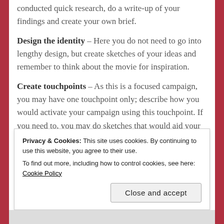conducted quick research, do a write-up of your findings and create your own brief. Design the identity – Here you do not need to go into lengthy design, but create sketches of your ideas and remember to think about the movie for inspiration.
Create touchpoints – As this is a focused campaign, you may have one touchpoint only; describe how you would activate your campaign using this touchpoint. If you need to, you may do sketches that would aid your communication.
Privacy & Cookies: This site uses cookies. By continuing to use this website, you agree to their use. To find out more, including how to control cookies, see here: Cookie Policy